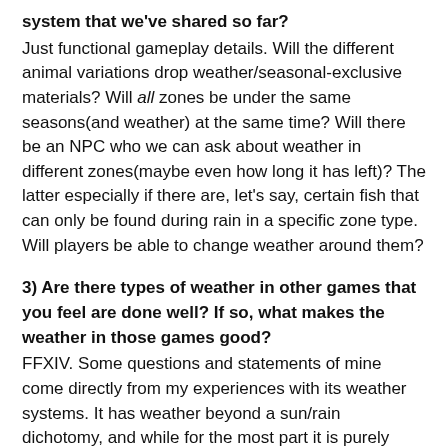system that we've shared so far?
Just functional gameplay details. Will the different animal variations drop weather/seasonal-exclusive materials? Will all zones be under the same seasons(and weather) at the same time? Will there be an NPC who we can ask about weather in different zones(maybe even how long it has left)? The latter especially if there are, let's say, certain fish that can only be found during rain in a specific zone type. Will players be able to change weather around them?
3) Are there types of weather in other games that you feel are done well? If so, what makes the weather in those games good?
FFXIV. Some questions and statements of mine come directly from my experiences with its weather systems. It has weather beyond a sun/rain dichotomy, and while for the most part it is purely cosmetic, if someone is filling out their fishing log, weather is a HUGE consideration.
It also presents a storytelling facet, because in the same UI widget you can check weather it is clear skies, overcast, fog, raining, etc., the weather can also say 'Apocalypse' when the world is on fire around you. In practical terms for Ashes